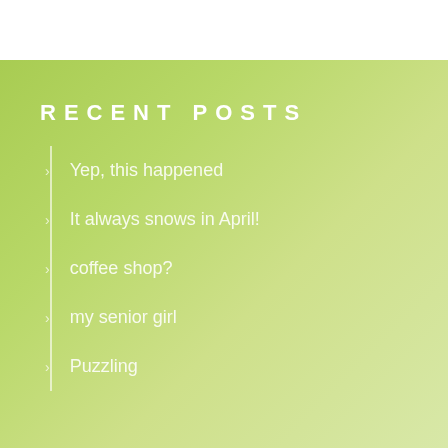RECENT POSTS
Yep, this happened
It always snows in April!
coffee shop?
my senior girl
Puzzling